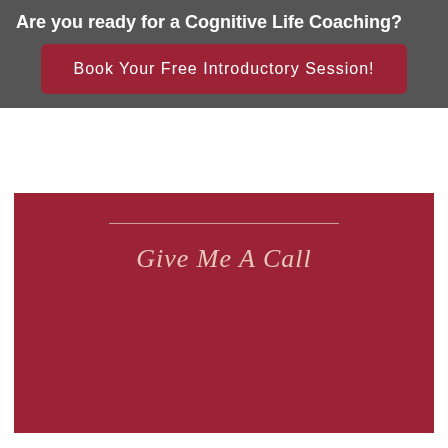Are you ready for a Cognitive Life Coaching?
Book Your Free Introductory Session!
Give Me A Call